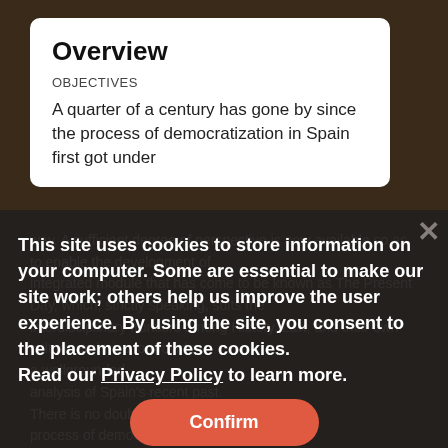Overview
OBJECTIVES
A quarter of a century has gone by since the process of democratization in Spain first got under
way. A sufficient degree of perspective is now available so as to enable the development of
integrated module that has come to be known as The Present Day, which, strictly speaking, suits the interdisciplinary frontiers among History, Law, and their own culture and tries to provide a wellgrounded analysis of Spain's recent past. There is no doubt that the process of democratization in Spain has
This site uses cookies to store information on your computer. Some are essential to make our site work; others help us improve the user experience. By using the site, you consent to the placement of these cookies. Read our Privacy Policy to learn more.
Confirm